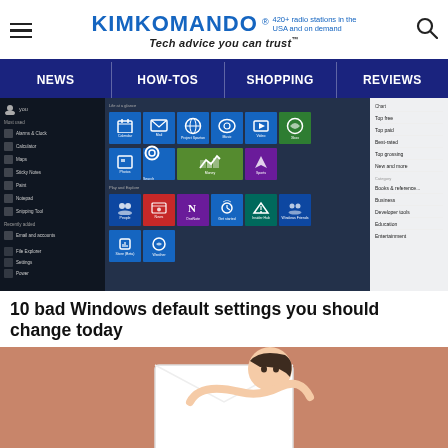KIMKOMANDO® 420+ radio stations in the USA and on demand — Tech advice you can trust™
[Figure (screenshot): Navigation bar with NEWS, HOW-TOS, SHOPPING, REVIEWS on dark navy background]
[Figure (screenshot): Windows 10 Start Menu screenshot showing colorful live tiles including Calendar, Mail, Cortana, Xbox, News, OneNote and other apps, with a white sidebar panel on the right showing categories like Top free, Top paid, Best-rated, Top grossing, New and more]
10 bad Windows default settings you should change today
[Figure (illustration): Cartoon illustration of a person with dark hair hiding behind or peeking over a white envelope/letter, on a pinkish-brown background]